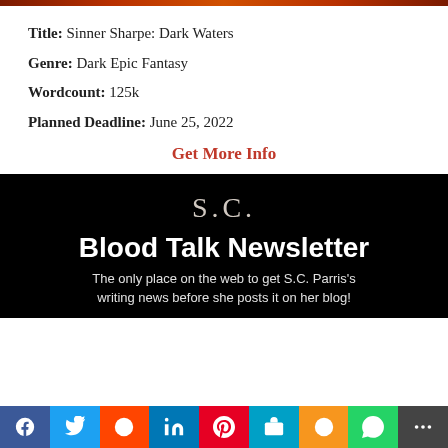[Figure (photo): Decorative banner image at top (partially visible, fiery tones)]
Title: Sinner Sharpe: Dark Waters
Genre: Dark Epic Fantasy
Wordcount: 125k
Planned Deadline: June 25, 2022
Get More Info
[Figure (illustration): Black newsletter signup banner with 'S.C.' monogram, 'Blood Talk Newsletter' bold title, and subtitle 'The only place on the web to get S.C. Parris's writing news before she posts it on her blog!']
Social sharing bar: Facebook, Twitter, Reddit, LinkedIn, Pinterest, MeWe, Mix, WhatsApp, More